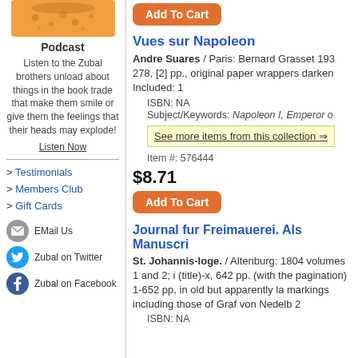[Figure (illustration): Orange decorative banner/image for podcast]
Podcast
Listen to the Zubal brothers unload about things in the book trade that make them smile or give them the feelings that their heads may explode!
Listen Now
> Testimonials
> Members Club
> Gift Cards
EMail Us
Zubal on Twitter
Zubal on Facebook
Add To Cart
Vues sur Napoleon
Andre Suares / Paris: Bernard Grasset 193 278, [2] pp., original paper wrappers darken Included: 1
ISBN: NA
Subject/Keywords: Napoleon I, Emperor o
See more items from this collection ⇒
Item #: 576444
$8.71
Add To Cart
Journal fur Freimauerei. Als Manuscri
St. Johannis-loge. / Altenburg: 1804 volumes 1 and 2; i (title)-x, 642 pp. (with the pagination) 1-652 pp, in old but apparently la markings including those of Graf von Nedelb 2
ISBN: NA